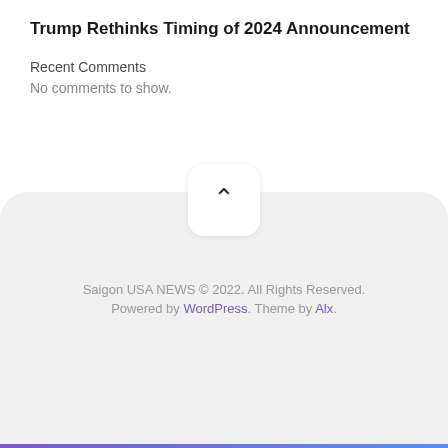Trump Rethinks Timing of 2024 Announcement
Recent Comments
No comments to show.
[Figure (illustration): Scroll-to-top button: white rounded square with a dark chevron/caret pointing upward, centered on a light gray footer area with rounded top corners]
Saigon USA NEWS © 2022. All Rights Reserved. Powered by WordPress. Theme by Alx.